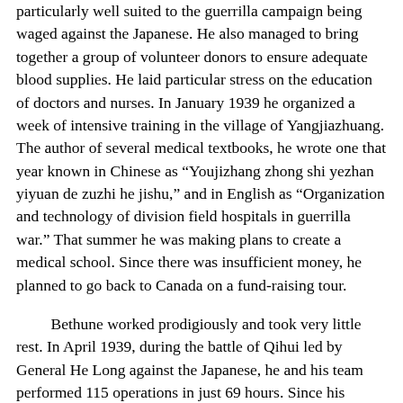particularly well suited to the guerrilla campaign being waged against the Japanese. He also managed to bring together a group of volunteer donors to ensure adequate blood supplies. He laid particular stress on the education of doctors and nurses. In January 1939 he organized a week of intensive training in the village of Yangjiazhuang. The author of several medical textbooks, he wrote one that year known in Chinese as “Youjizhang zhong shi yezhan yiyuan de zuzhi he jishu,” and in English as “Organization and technology of division field hospitals in guerrilla war.” That summer he was making plans to create a medical school. Since there was insufficient money, he planned to go back to Canada on a fund-raising tour.
Bethune worked prodigiously and took very little rest. In April 1939, during the battle of Qihui led by General He Long against the Japanese, he and his team performed 115 operations in just 69 hours. Since his arrival in the frontier region, he had lost a lot of weight. In a letter written in August 1939, he states that his teeth and his eyes are in bad shape and that he can only hear with